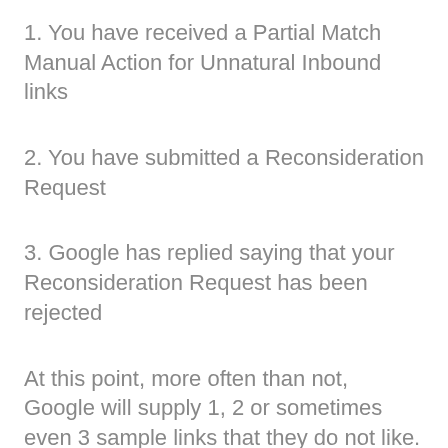1. You have received a Partial Match Manual Action for Unnatural Inbound links
2. You have submitted a Reconsideration Request
3. Google has replied saying that your Reconsideration Request has been rejected
At this point, more often than not, Google will supply 1, 2 or sometimes even 3 sample links that they do not like.
Here are some examples that may surprise you…